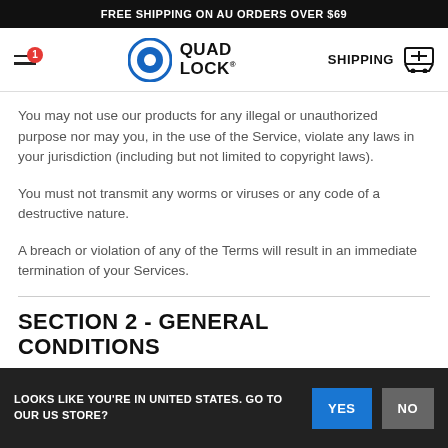FREE SHIPPING ON AU ORDERS OVER $69
[Figure (logo): Quad Lock logo with blue circle icon and QUAD LOCK text, navigation bar with hamburger menu, SHIPPING label and cart icon]
You may not use our products for any illegal or unauthorized purpose nor may you, in the use of the Service, violate any laws in your jurisdiction (including but not limited to copyright laws).
You must not transmit any worms or viruses or any code of a destructive nature.
A breach or violation of any of the Terms will result in an immediate termination of your Services.
SECTION 2 - GENERAL CONDITIONS
LOOKS LIKE YOU'RE IN UNITED STATES. GO TO OUR US STORE?